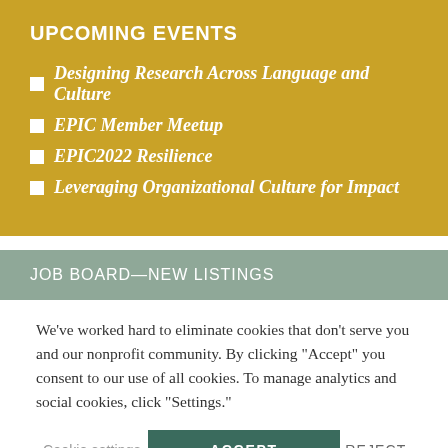UPCOMING EVENTS
Designing Research Across Language and Culture
EPIC Member Meetup
EPIC2022 Resilience
Leveraging Organizational Culture for Impact
JOB BOARD—NEW LISTINGS
We've worked hard to eliminate cookies that don't serve you and our nonprofit community. By clicking "Accept" you consent to our use of all cookies. To manage analytics and social cookies, click "Settings."